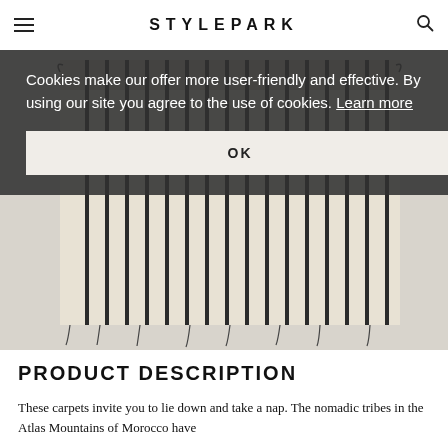STYLEPARK
[Figure (photo): A woven carpet/rug with cream/beige background and vertical dark stripes, hung from a rod, with small dark tassels along the bottom edge.]
Cookies make our offer more user-friendly and effective. By using our site you agree to the use of cookies. Learn more
OK
PRODUCT DESCRIPTION
These carpets invite you to lie down and take a nap. The nomadic tribes in the Atlas Mountains of Morocco have